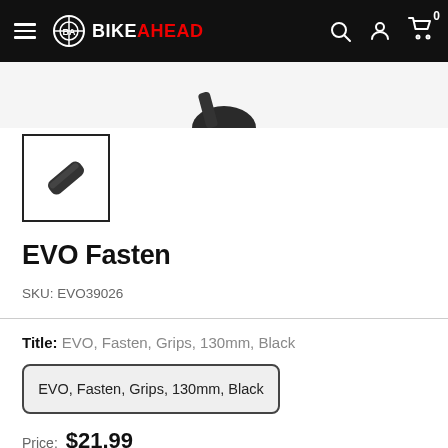BIKEAHEAD — navigation bar with logo, search, account, and cart icons
[Figure (photo): Partial product image visible at top of page — bottom of a black grip product]
[Figure (photo): Thumbnail image of EVO Fasten grip product — black cylindrical grip shown diagonally in a square bordered box]
EVO Fasten
SKU: EVO39026
Title: EVO, Fasten, Grips, 130mm, Black
EVO, Fasten, Grips, 130mm, Black
Price: $21.99